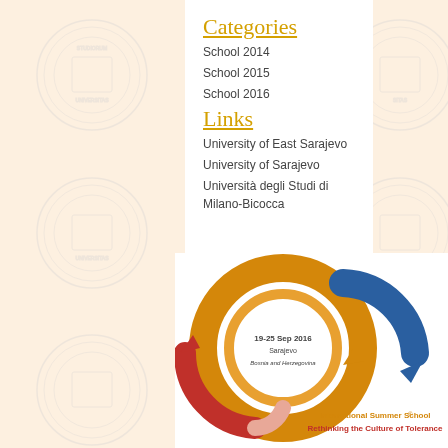Categories
School 2014
School 2015
School 2016
Links
University of East Sarajevo
University of Sarajevo
Università degli Studi di Milano-Bicocca
[Figure (logo): International Summer School logo with interlocking circular arrows in orange, blue, and red. Text reads '19-25 Sep 2016 Sarajevo Bosnia and Herzegovina' and 'International Summer School® Rethinking the Culture of Tolerance']